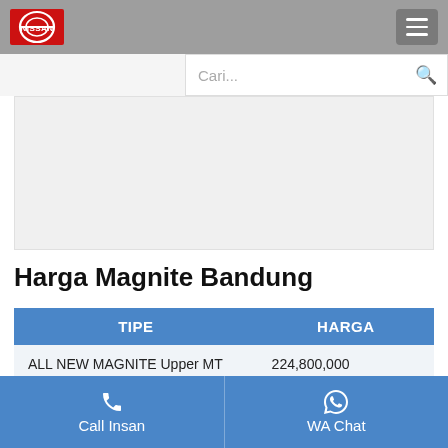[Figure (logo): Nissan logo on gray header bar with hamburger menu button]
Cari...
[Figure (other): Advertisement area placeholder]
Harga Magnite Bandung
| TIPE | HARGA |
| --- | --- |
| ALL NEW MAGNITE Upper MT | 224,800,000 |
| ALL NEW MAGNITE Upper CVT | 240,300,000 |
| ALL NEW MAGNITE Premium | 242,300,000 |
Call Insan
WA Chat